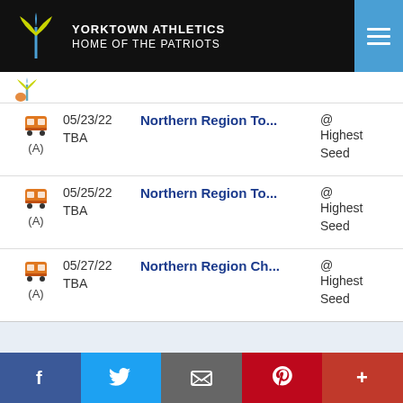YORKTOWN ATHLETICS HOME OF THE PATRIOTS
| Icon | Date/Time | Event | Location |
| --- | --- | --- | --- |
| (A) bus | 05/23/22 TBA | Northern Region To... | @ Highest Seed |
| (A) bus | 05/25/22 TBA | Northern Region To... | @ Highest Seed |
| (A) bus | 05/27/22 TBA | Northern Region Ch... | @ Highest Seed |
Facebook | Twitter | Email | Pinterest | More